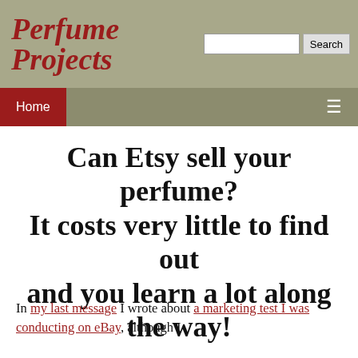Perfume Projects
Can Etsy sell your perfume? It costs very little to find out and you learn a lot along the way!
In my last message I wrote about a marketing test I was conducting on eBay, although I